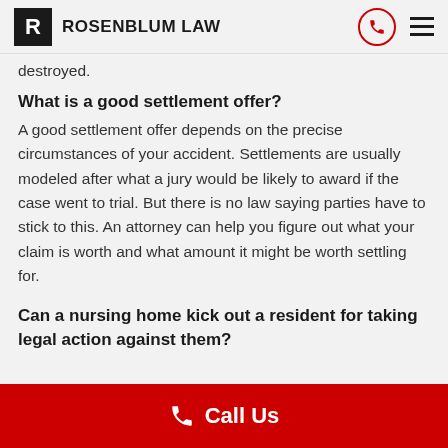ROSENBLUM LAW
destroyed.
What is a good settlement offer?
A good settlement offer depends on the precise circumstances of your accident. Settlements are usually modeled after what a jury would be likely to award if the case went to trial. But there is no law saying parties have to stick to this. An attorney can help you figure out what your claim is worth and what amount it might be worth settling for.
Can a nursing home kick out a resident for taking legal action against them?
Call Us